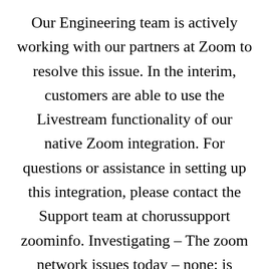Our Engineering team is actively working with our partners at Zoom to resolve this issue. In the interim, customers are able to use the Livestream functionality of our native Zoom integration. For questions or assistance in setting up this integration, please contact the Support team at chorussupport zoominfo. Investigating – The zoom network issues today – none: is continuing its investigation into issues around recordings that are being missed for clients utilizing our Notetaker to